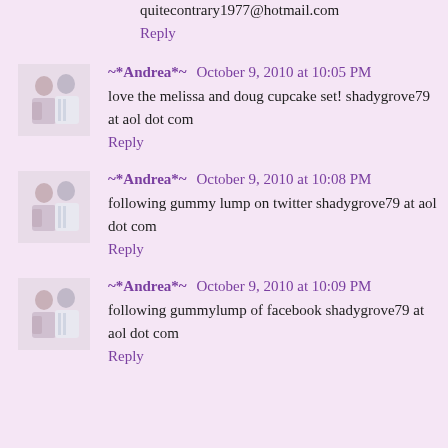quitecontrary1977@hotmail.com
Reply
~*Andrea*~ October 9, 2010 at 10:05 PM
love the melissa and doug cupcake set! shadygrove79 at aol dot com
Reply
~*Andrea*~ October 9, 2010 at 10:08 PM
following gummy lump on twitter shadygrove79 at aol dot com
Reply
~*Andrea*~ October 9, 2010 at 10:09 PM
following gummylump of facebook shadygrove79 at aol dot com
Reply